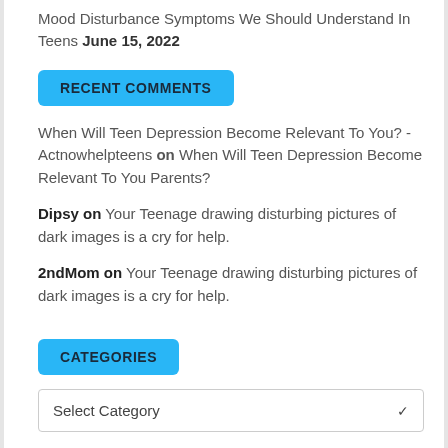Mood Disturbance Symptoms We Should Understand In Teens June 15, 2022
RECENT COMMENTS
When Will Teen Depression Become Relevant To You? - Actnowhelpteens on When Will Teen Depression Become Relevant To You Parents?
Dipsy on Your Teenage drawing disturbing pictures of dark images is a cry for help.
2ndMom on Your Teenage drawing disturbing pictures of dark images is a cry for help.
CATEGORIES
Select Category